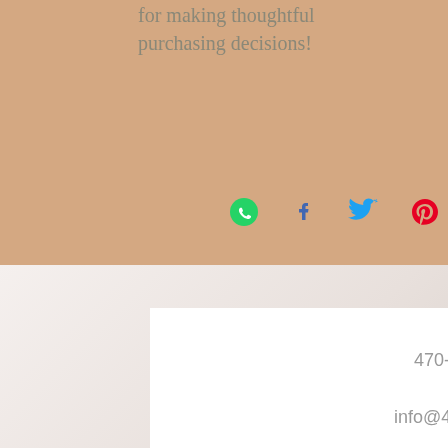for making thoughtful purchasing decisions!
[Figure (infographic): Row of social share icons: WhatsApp (green), Facebook (blue), Twitter (blue bird), Pinterest (red)]
Call
470-407-3152
Email
info@4johnjay.com
Follow
[Figure (infographic): Row of social follow icons: Facebook (black), Twitter (black bird), Instagram (black camera)]
© 2022